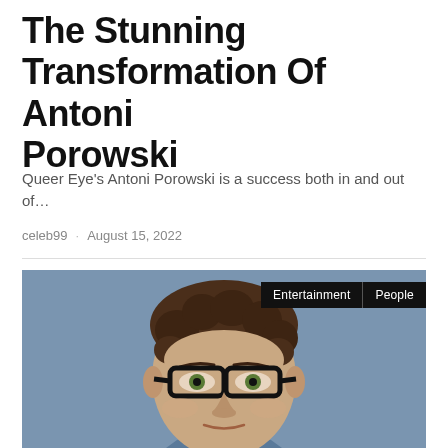The Stunning Transformation Of Antoni Porowski
Queer Eye's Antoni Porowski is a success both in and out of…
celeb99 · August 15, 2022
[Figure (photo): Headshot of a man with curly brown hair wearing black-rimmed glasses, smiling slightly against a blue-grey background. Tags 'Entertainment' and 'People' are overlaid in the top-right corner.]